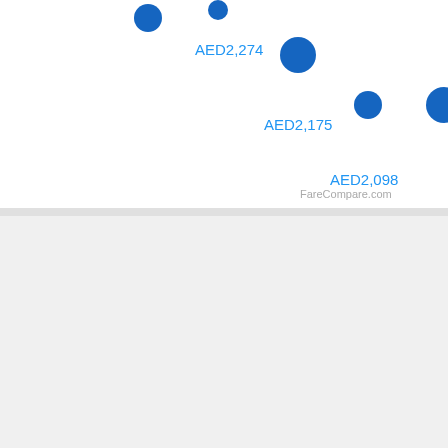[Figure (scatter-plot): Flight prices from Dubai to Accra]
Cheap Last Minute Flights from Dubai to Accra
Looking for cheap last minute flights or a weekend getaway? We've got you covered with weekend flight